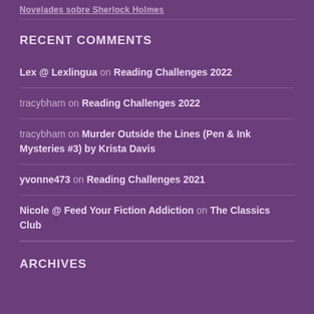Novelades sobre Sherlock Holmes
RECENT COMMENTS
Lex @ Lexlingua on Reading Challenges 2022
tracybham on Reading Challenges 2022
tracybham on Murder Outside the Lines (Pen & Ink Mysteries #3) by Krista Davis
yvonne473 on Reading Challenges 2021
Nicole @ Feed Your Fiction Addiction on The Classics Club
ARCHIVES